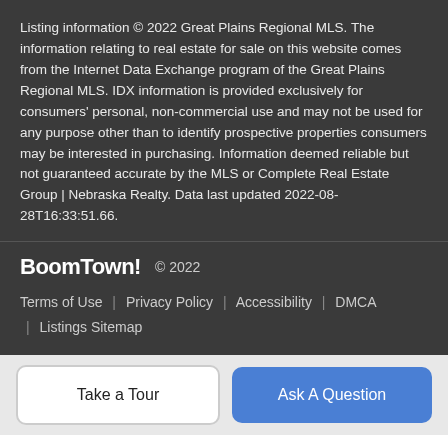Listing information © 2022 Great Plains Regional MLS. The information relating to real estate for sale on this website comes from the Internet Data Exchange program of the Great Plains Regional MLS. IDX information is provided exclusively for consumers' personal, non-commercial use and may not be used for any purpose other than to identify prospective properties consumers may be interested in purchasing. Information deemed reliable but not guaranteed accurate by the MLS or Complete Real Estate Group | Nebraska Realty. Data last updated 2022-08-28T16:33:51.66.
BoomTown! © 2022 | Terms of Use | Privacy Policy | Accessibility | DMCA | Listings Sitemap
Take a Tour
Ask A Question